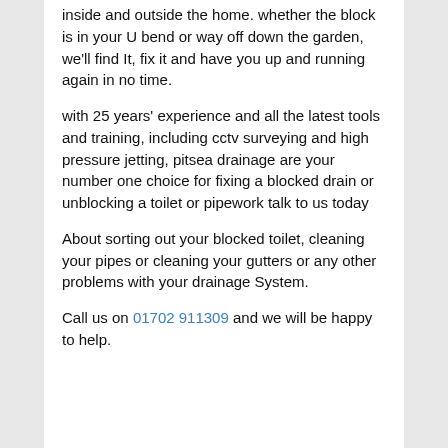inside and outside the home. whether the block is in your U bend or way off down the garden, we'll find It, fix it and have you up and running again in no time.
with 25 years' experience and all the latest tools and training, including cctv surveying and high pressure jetting, pitsea drainage are your number one choice for fixing a blocked drain or unblocking a toilet or pipework talk to us today
About sorting out your blocked toilet, cleaning your pipes or cleaning your gutters or any other problems with your drainage System.
Call us on 01702 911309 and we will be happy to help.